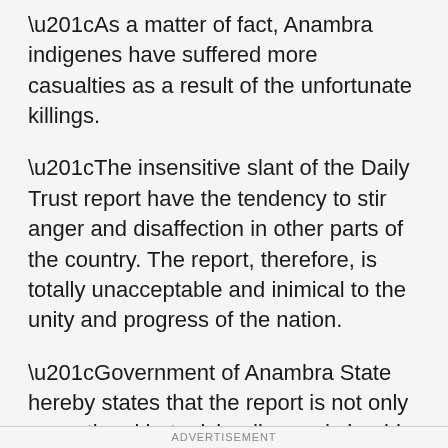“As a matter of fact, Anambra indigenes have suffered more casualties as a result of the unfortunate killings.
“The insensitive slant of the Daily Trust report have the tendency to stir anger and disaffection in other parts of the country. The report, therefore, is totally unacceptable and inimical to the unity and progress of the nation.
“Government of Anambra State hereby states that the report is not only sensational but misleading and should be immediately retracted to reflect the real situation on ground.”
ADVERTISEMENT